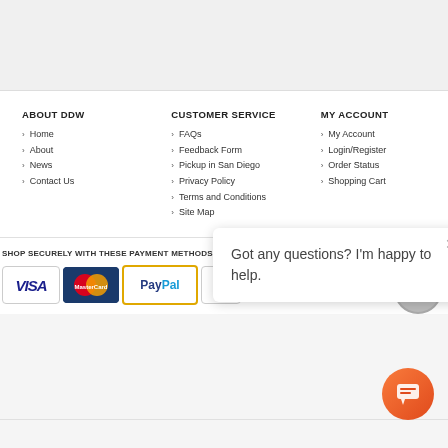ABOUT DDW
Home
About
News
Contact Us
CUSTOMER SERVICE
FAQs
Feedback Form
Pickup in San Diego
Privacy Policy
Terms and Conditions
Site Map
MY ACCOUNT
My Account
Login/Register
Order Status
Shopping Cart
SHOP SECURELY WITH THESE PAYMENT METHODS
SITE SECURED B
[Figure (infographic): Payment method icons: VISA, MasterCard, PayPal, DISC and a security badge]
Got any questions? I'm happy to help.